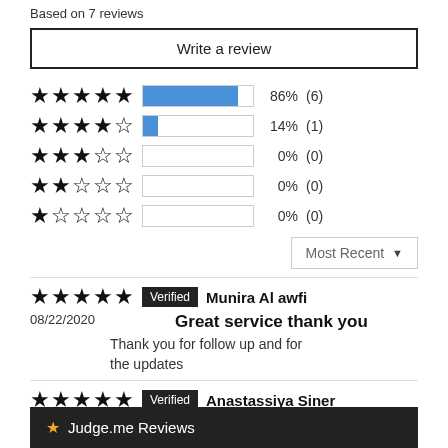Based on 7 reviews
Write a review
[Figure (bar-chart): Star rating distribution]
Most Recent
Verified  Munira Al awfi
08/22/2020
Great service thank you
Thank you for follow up and for the updates
Verified  Anastassiya Siner
02/03/202...
★ Judge.me Reviews